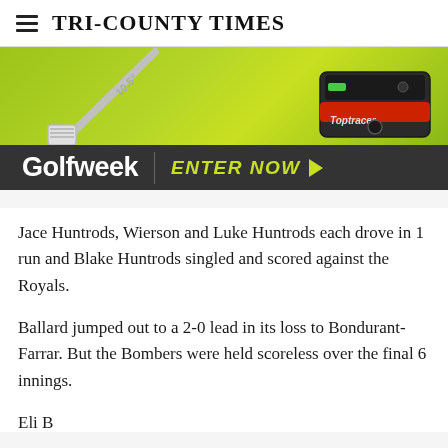Tri-County Times
[Figure (photo): Golfweek advertisement banner showing a golf club and a Toptracer device on a lime-green background, with 'Golfweek' logo and 'ENTER NOW' call to action on dark bar below.]
Jace Huntrods, Wierson and Luke Huntrods each drove in 1 run and Blake Huntrods singled and scored against the Royals.
Ballard jumped out to a 2-0 lead in its loss to Bondurant-Farrar. But the Bombers were held scoreless over the final 6 innings.
Eli B...